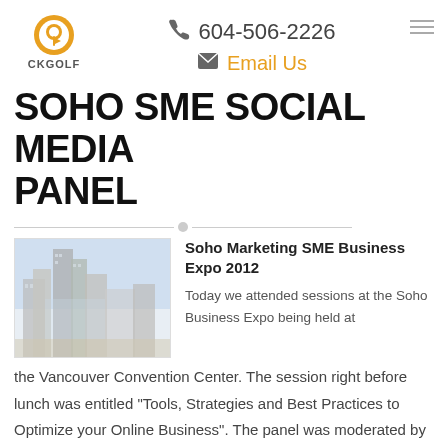[Figure (logo): CKGolf logo with orange circle and golf pin icon, text CKGOLF below]
604-506-2226  Email Us
SOHO SME SOCIAL MEDIA PANEL
[Figure (photo): Photo of city buildings/skyline in muted gray and blue tones]
Soho Marketing SME Business Expo 2012
Today we attended sessions at the Soho Business Expo being held at the Vancouver Convention Center. The session right before lunch was entitled “Tools, Strategies and Best Practices to Optimize your Online Business”. The panel was moderated by Bosco Anthony (boscoanthony.com/@boscoanthony) and